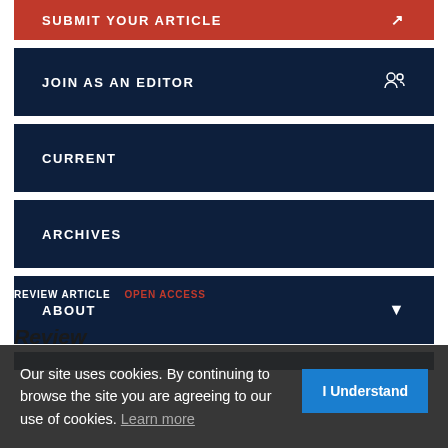SUBMIT YOUR ARTICLE
JOIN AS AN EDITOR
CURRENT
ARCHIVES
ABOUT
SPECIAL ISSUES
REVIEW ARTICLE   OPEN ACCESS
History of Aviation: A Short Review
Our site uses cookies. By continuing to browse the site you are agreeing to our use of cookies. Learn more